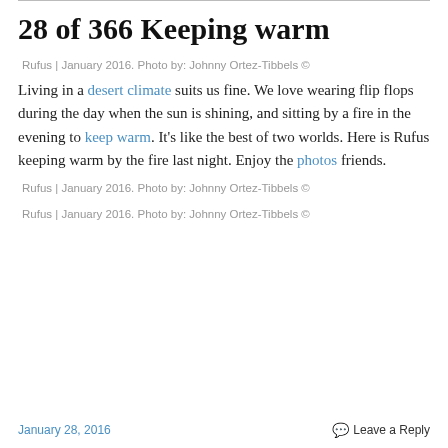28 of 366 Keeping warm
Rufus | January 2016. Photo by: Johnny Ortez-Tibbels ©
Living in a desert climate suits us fine. We love wearing flip flops during the day when the sun is shining, and sitting by a fire in the evening to keep warm. It's like the best of two worlds. Here is Rufus keeping warm by the fire last night. Enjoy the photos friends.
Rufus | January 2016. Photo by: Johnny Ortez-Tibbels ©
Rufus | January 2016. Photo by: Johnny Ortez-Tibbels ©
January 28, 2016   Leave a Reply